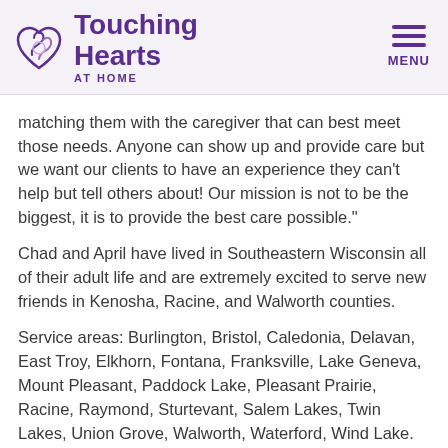Touching Hearts AT HOME
matching them with the caregiver that can best meet those needs. Anyone can show up and provide care but we want our clients to have an experience they can’t help but tell others about! Our mission is not to be the biggest, it is to provide the best care possible.”
Chad and April have lived in Southeastern Wisconsin all of their adult life and are extremely excited to serve new friends in Kenosha, Racine, and Walworth counties.
Service areas: Burlington, Bristol, Caledonia, Delavan, East Troy, Elkhorn, Fontana, Franksville, Lake Geneva, Mount Pleasant, Paddock Lake, Pleasant Prairie, Racine, Raymond, Sturtevant, Salem Lakes, Twin Lakes, Union Grove, Walworth, Waterford, Wind Lake.